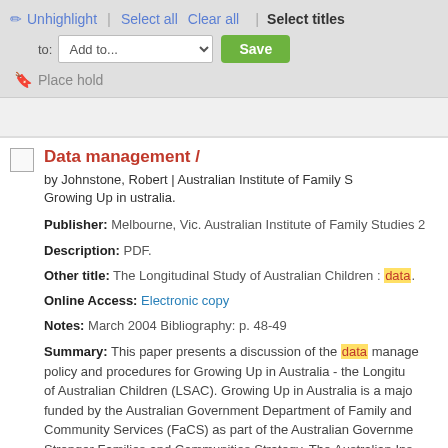Unhighlight | Select all  Clear all | Select titles
to: Add to...  Save
🔖 Place hold
Data management /
by Johnstone, Robert | Australian Institute of Family S... Growing Up in ustralia.
Publisher: Melbourne, Vic. Australian Institute of Family Studies 2
Description: PDF.
Other title: The Longitudinal Study of Australian Children : data.
Online Access: Electronic copy
Notes: March 2004 Bibliography: p. 48-49
Summary: This paper presents a discussion of the data management policy and procedures for Growing Up in Australia - the Longitudinal Study of Australian Children (LSAC). Growing Up in Australia is a major study funded by the Australian Government Department of Family and Community Services (FaCS) as part of the Australian Government Stronger Families and Communities Strategy. The Australian Institute of Family Studies is leading a consortium of nine eminent Australian institutions in the development of this study, which will track the